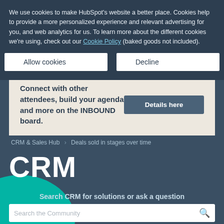We use cookies to make HubSpot's website a better place. Cookies help to provide a more personalized experience and relevant advertising for you, and web analytics for us. To learn more about the different cookies we're using, check out our Cookie Policy (baked goods not included).
Allow cookies | Decline
Connect with other attendees, build your agenda and more on the INBOUND board. Details here
CRM & Sales Hub > Deals sold in stages over time
CRM
Search CRM for solutions or ask a question
Search the Community